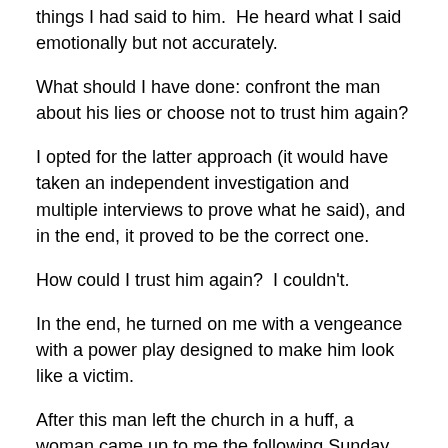things I had said to him.  He heard what I said emotionally but not accurately.
What should I have done: confront the man about his lies or choose not to trust him again?
I opted for the latter approach (it would have taken an independent investigation and multiple interviews to prove what he said), and in the end, it proved to be the correct one.
How could I trust him again?  I couldn't.
In the end, he turned on me with a vengeance with a power play designed to make him look like a victim.
After this man left the church in a huff, a woman came up to me the following Sunday and said, “It’s a shame you and So and So couldn’t get along.”